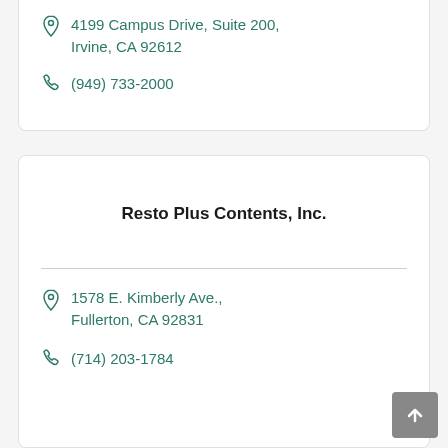4199 Campus Drive, Suite 200, Irvine, CA 92612
(949) 733-2000
Resto Plus Contents, Inc.
1578 E. Kimberly Ave., Fullerton, CA 92831
(714) 203-1784